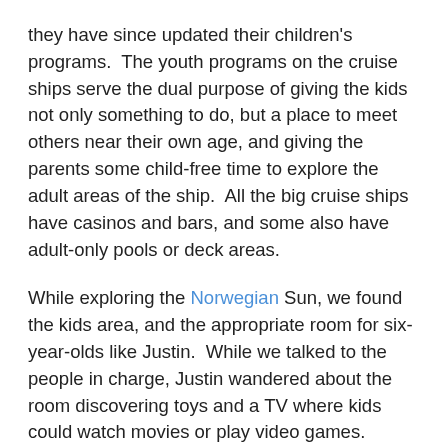they have since updated their children's programs.  The youth programs on the cruise ships serve the dual purpose of giving the kids not only something to do, but a place to meet others near their own age, and giving the parents some child-free time to explore the adult areas of the ship.  All the big cruise ships have casinos and bars, and some also have adult-only pools or deck areas.
While exploring the Norwegian Sun, we found the kids area, and the appropriate room for six-year-olds like Justin.  While we talked to the people in charge, Justin wandered about the room discovering toys and a TV where kids could watch movies or play video games.  Nobody else was using it at the time, so Justin got into playing a game, and wanted to stay when Chris and I were ready to go.  That's what the kid's area is for, right, leave